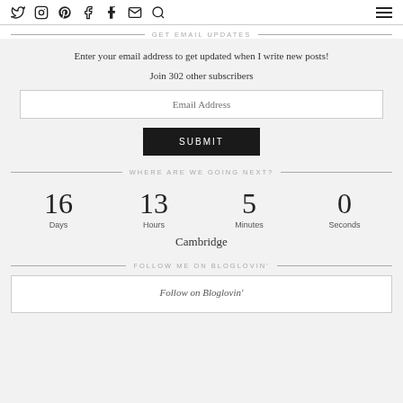Social icons: Twitter, Instagram, Pinterest, Facebook, Tumblr, Email, Search; Hamburger menu
GET EMAIL UPDATES
Enter your email address to get updated when I write new posts!
Join 302 other subscribers
Email Address
SUBMIT
WHERE ARE WE GOING NEXT?
16 Days  13 Hours  5 Minutes  0 Seconds
Cambridge
FOLLOW ME ON BLOGLOVIN'
Follow on Bloglovin'